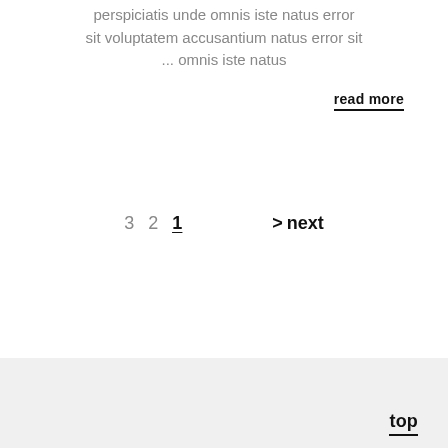perspiciatis unde omnis iste natus error sit voluptatem accusantium natus error sit ... omnis iste natus
read more
3 2 1 > next
top